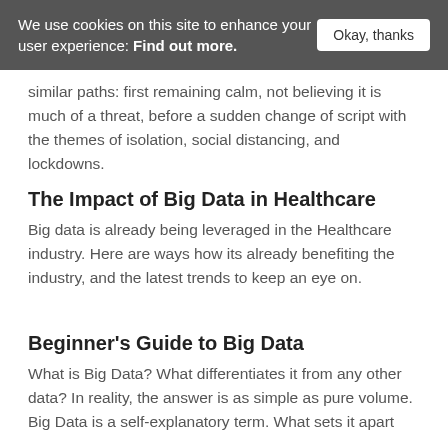We use cookies on this site to enhance your user experience: Find out more.
similar paths: first remaining calm, not believing it is much of a threat, before a sudden change of script with the themes of isolation, social distancing, and lockdowns.
The Impact of Big Data in Healthcare
Big data is already being leveraged in the Healthcare industry. Here are ways how its already benefiting the industry, and the latest trends to keep an eye on.
Beginner's Guide to Big Data
What is Big Data? What differentiates it from any other data? In reality, the answer is as simple as pure volume. Big Data is a self-explanatory term. What sets it apart